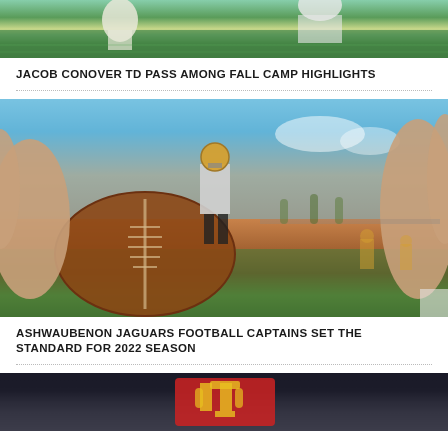[Figure (photo): Football action photo showing players in motion during a fall camp practice, top portion visible]
JACOB CONOVER TD PASS AMONG FALL CAMP HIGHLIGHTS
[Figure (photo): Close-up football practice photo with a football in the foreground and a quarterback in a yellow helmet preparing to throw in the background on a sunny day]
ASHWAUBENON JAGUARS FOOTBALL CAPTAINS SET THE STANDARD FOR 2022 SEASON
[Figure (photo): Partial view of a football-related image at the bottom of the page, showing what appears to be a logo or emblem]